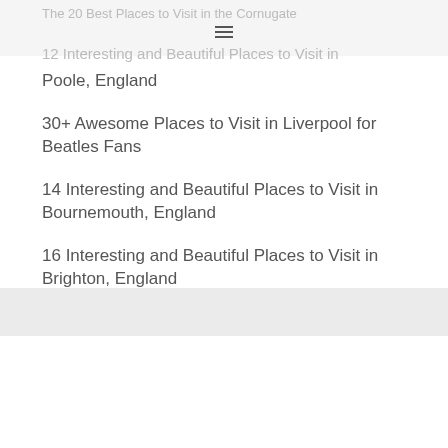The 20 Best Places to Visit in the Cornugate
12 Interesting and Beautiful Places to Visit in
Poole, England
30+ Awesome Places to Visit in Liverpool for Beatles Fans
14 Interesting and Beautiful Places to Visit in Bournemouth, England
16 Interesting and Beautiful Places to Visit in Brighton, England